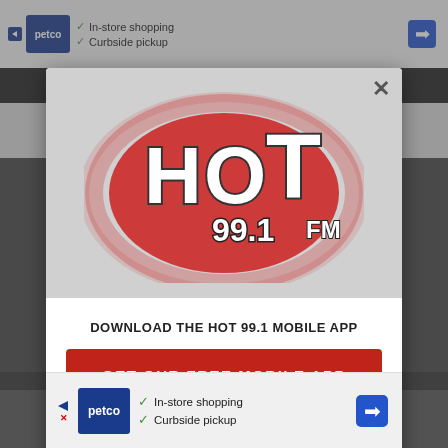[Figure (screenshot): Screenshot of a website with a modal popup dialog for Hot 99.1 FM radio station mobile app download. Background shows a Petco advertisement and dark navigation bar. Modal contains the Hot 99.1 FM logo with red glow, text 'DOWNLOAD THE HOT 99.1 MOBILE APP', a red CTA button 'GET OUR FREE MOBILE APP', and 'Also listen on: amazon alexa' with Alexa ring icon. A close X button is in the top right of the modal. A Petco advertisement banner appears at the bottom.]